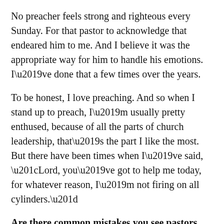No preacher feels strong and righteous every Sunday. For that pastor to acknowledge that endeared him to me. And I believe it was the appropriate way for him to handle his emotions. I've done that a few times over the years.
To be honest, I love preaching. And so when I stand up to preach, I'm usually pretty enthused, because of all the parts of church leadership, that's the part I like the most. But there have been times when I've said, “Lord, you’ve got to help me today, for whatever reason, I’m not firing on all cylinders.”
Are there common mistakes you see pastors making with public prayer?
…